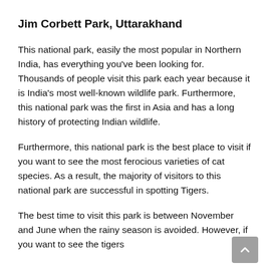Jim Corbett Park, Uttarakhand
This national park, easily the most popular in Northern India, has everything you’ve been looking for. Thousands of people visit this park each year because it is India’s most well-known wildlife park. Furthermore, this national park was the first in Asia and has a long history of protecting Indian wildlife.
Furthermore, this national park is the best place to visit if you want to see the most ferocious varieties of cat species. As a result, the majority of visitors to this national park are successful in spotting Tigers.
The best time to visit this park is between November and June when the rainy season is avoided. However, if you want to see the tigers